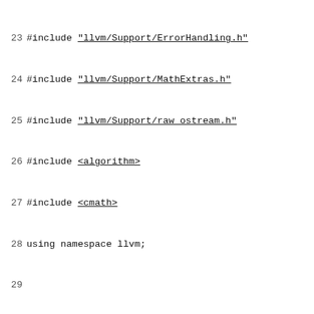Source code listing lines 23-52 of LLVM interpreter C++ file
23 #include "llvm/Support/ErrorHandling.h"
24 #include "llvm/Support/MathExtras.h"
25 #include "llvm/Support/raw_ostream.h"
26 #include <algorithm>
27 #include <cmath>
28 using namespace llvm;
29
30 #define DEBUG_TYPE "interpreter"
31
32 STATISTIC(NumDynamicInsts, "Number of dynamic instr..."
33
34 static cl::opt<bool> PrintVolatile("interpreter-pri..."
35         cl::desc("make the interpreter print ever..."
36
37 //===---...
38 //                  Various Helper Functions
39 //===---...
40
41 static void SetValue(Value *V, GenericValue Val, Ex...
42   SF.Values[V] = Val;
43 }
44
45 //===---...
46 //               Unary Instruction Implementat...
47 //===---...
48
49 static void executeFNegInst(GenericValue &Dest, Ge...
50   switch (Ty->getTypeID()) {
51   case Type::FloatTyID:
52     Dest.FloatVal = -Src.FloatVal;